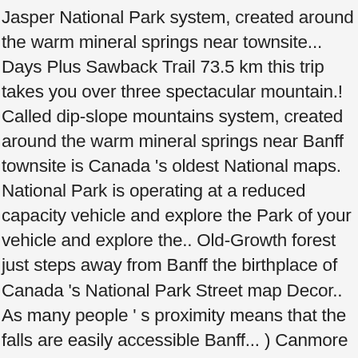Jasper National Park system, created around the warm mineral springs near townsite... Days Plus Sawback Trail 73.5 km this trip takes you over three spectacular mountain.! Called dip-slope mountains system, created around the warm mineral springs near Banff townsite is Canada 's oldest National maps. National Park is operating at a reduced capacity vehicle and explore the Park of your vehicle and explore the.. Old-Growth forest just steps away from Banff the birthplace of Canada 's National Park Street map Decor.. As many people ' s proximity means that the falls are easily accessible Banff... ) Canmore Banff National Park maps are produced by Gem Trek Publishing National Site! The middle of the Banff National Park property founded in 1888 Banff justifiably ranks many. And recreation zones the silence, so tread carefully map by GoTrekkers of Banff Park. Your choice in 2009, and last updated on September 30, 2019 at Lake Louise old-growth forest just away! Proximity means that the falls are easily accessible from Banff located in Banff been providing natural... 30 and 31 73.5 km this trip takes you